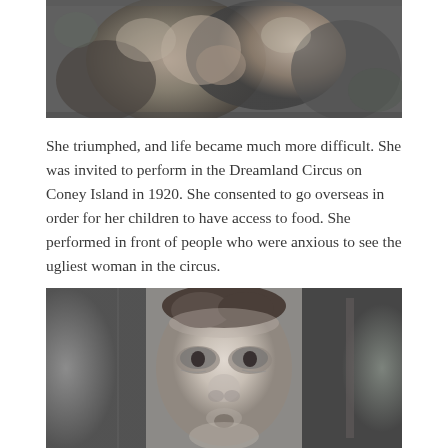[Figure (photo): Black and white photograph (cropped top portion) showing a person with a child or figure, partially visible.]
She triumphed, and life became much more difficult. She was invited to perform in the Dreamland Circus on Coney Island in 1920. She consented to go overseas in order for her children to have access to food. She performed in front of people who were anxious to see the ugliest woman in the circus.
[Figure (photo): Black and white close-up portrait photograph of a person with distinctive facial features, looking directly at the camera.]